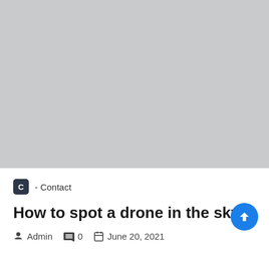[Figure (photo): Large gray placeholder image at top of blog post]
C - Contact
How to spot a drone in the sky
Admin  0  June 20, 2021